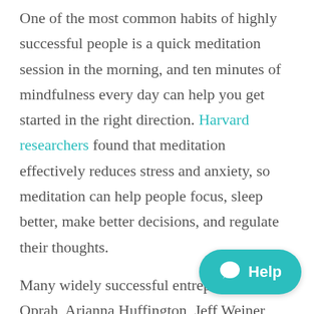One of the most common habits of highly successful people is a quick meditation session in the morning, and ten minutes of mindfulness every day can help you get started in the right direction. Harvard researchers found that meditation effectively reduces stress and anxiety, so meditation can help people focus, sleep better, make better decisions, and regulate their thoughts.
Many widely successful entrepreneurs like Oprah, Arianna Huffington, Jeff Weiner, Russel Simmons, and Marc Benioff all meditate. In fact, Winfrey meditates each morning and evening for